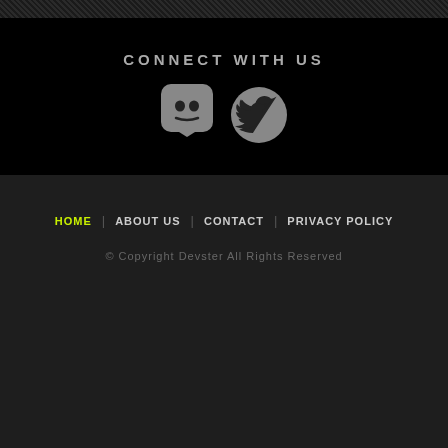CONNECT WITH US
[Figure (illustration): Discord and Twitter social media icons (gray rounded square Discord icon and gray circle Twitter bird icon)]
HOME | ABOUT US | CONTACT | PRIVACY POLICY
© Copyright Devster All Rights Reserved
[Figure (logo): Devster logo with a cartoon teal monster character wearing VR goggles and the DEVSTER text logo in dark teal 3D letters]
website designed by VIENNA CREATIVE